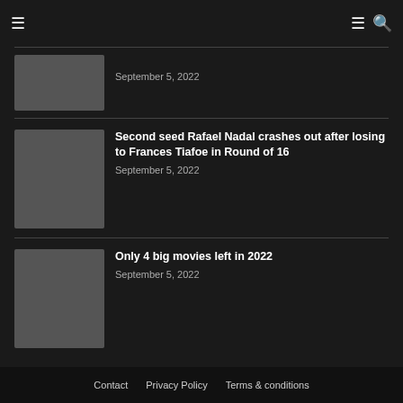Navigation header with hamburger menu and search icon
September 5, 2022
Second seed Rafael Nadal crashes out after losing to Frances Tiafoe in Round of 16
September 5, 2022
Only 4 big movies left in 2022
September 5, 2022
Contact   Privacy Policy   Terms & conditions